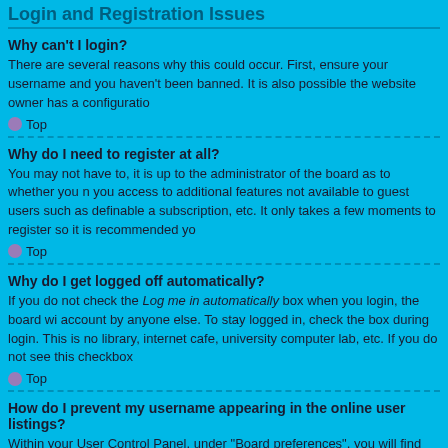Login and Registration Issues
Why can't I login?
There are several reasons why this could occur. First, ensure your username and you haven't been banned. It is also possible the website owner has a configuratio
Top
Why do I need to register at all?
You may not have to, it is up to the administrator of the board as to whether you n you access to additional features not available to guest users such as definable a subscription, etc. It only takes a few moments to register so it is recommended yo
Top
Why do I get logged off automatically?
If you do not check the Log me in automatically box when you login, the board wi account by anyone else. To stay logged in, check the box during login. This is no library, internet cafe, university computer lab, etc. If you do not see this checkbox
Top
How do I prevent my username appearing in the online user listings?
Within your User Control Panel, under "Board preferences", you will find the optio appear to the administrators, moderators and yourself. You will be counted as a h
Top
I've lost my password!